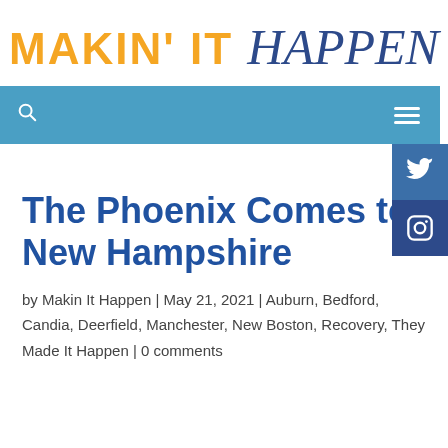[Figure (logo): Makin' It Happen logo — 'MAKIN' IT' in bold yellow/orange uppercase, 'Happen' in cursive dark blue]
[Figure (screenshot): Blue navigation bar with search icon on left and hamburger menu on right, with social media side buttons (Twitter, Instagram) on the right edge]
The Phoenix Comes to New Hampshire
by Makin It Happen | May 21, 2021 | Auburn, Bedford, Candia, Deerfield, Manchester, New Boston, Recovery, They Made It Happen | 0 comments